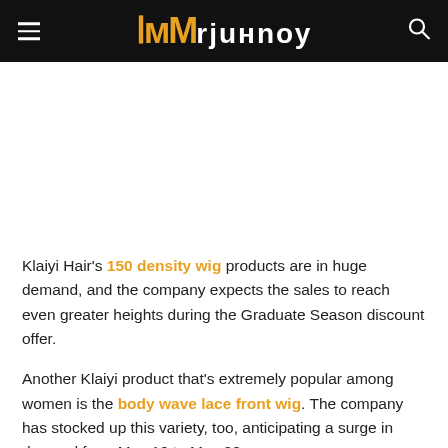≡  ӏмMrjuнnоу  🔍
Klaiyi Hair's 150 density wig products are in huge demand, and the company expects the sales to reach even greater heights during the Graduate Season discount offer.
Another Klaiyi product that's extremely popular among women is the body wave lace front wig. The company has stocked up this variety, too, anticipating a surge in demand from May 16 to May 23.